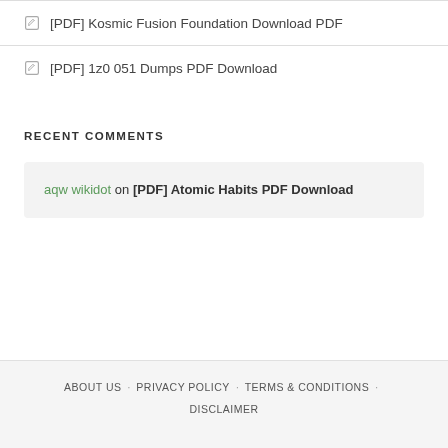[PDF] Kosmic Fusion Foundation Download PDF
[PDF] 1z0 051 Dumps PDF Download
RECENT COMMENTS
aqw wikidot on [PDF] Atomic Habits PDF Download
ABOUT US · PRIVACY POLICY · TERMS & CONDITIONS · DISCLAIMER